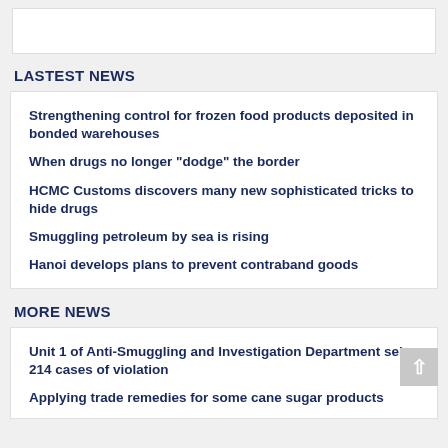[Figure (other): White box at top of page, partially visible]
LASTEST NEWS
Strengthening control for frozen food products deposited in bonded warehouses
When drugs no longer "dodge" the border
HCMC Customs discovers many new sophisticated tricks to hide drugs
Smuggling petroleum by sea is rising
Hanoi develops plans to prevent contraband goods
MORE NEWS
Unit 1 of Anti-Smuggling and Investigation Department seize 214 cases of violation
Applying trade remedies for some cane sugar products